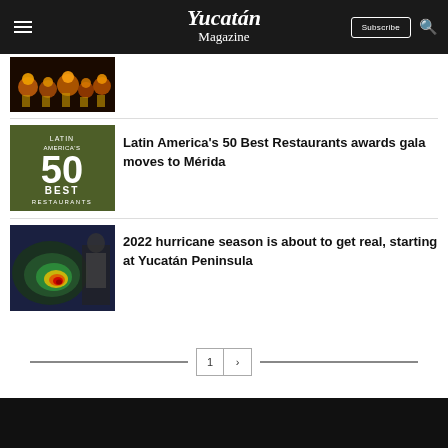Yucatán Magazine — Subscribe | Search
[Figure (photo): Thumbnail image of candles/lights with warm orange tones]
[Figure (photo): Latin America's 50 Best Restaurants logo on dark olive/green background]
Latin America's 50 Best Restaurants awards gala moves to Mérida
[Figure (photo): Satellite hurricane radar image with man presenting, showing storm near Yucatán Peninsula]
2022 hurricane season is about to get real, starting at Yucatán Peninsula